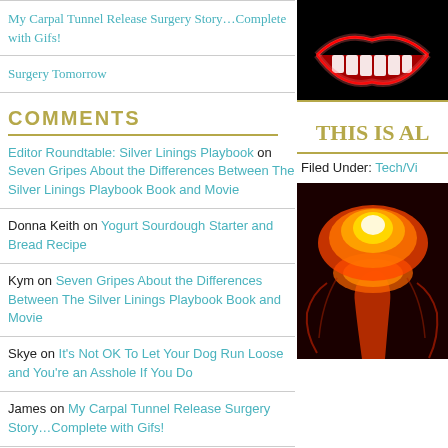My Carpal Tunnel Release Surgery Story…Complete with Gifs!
Surgery Tomorrow
COMMENTS
Editor Roundtable: Silver Linings Playbook on Seven Gripes About the Differences Between The Silver Linings Playbook Book and Movie
Donna Keith on Yogurt Sourdough Starter and Bread Recipe
Kym on Seven Gripes About the Differences Between The Silver Linings Playbook Book and Movie
Skye on It's Not OK To Let Your Dog Run Loose and You're an Asshole If You Do
James on My Carpal Tunnel Release Surgery Story…Complete with Gifs!
[Figure (photo): Neon glowing red lips on black background]
THIS IS AL
Filed Under: Tech/Vi
[Figure (photo): Nuclear mushroom cloud explosion with orange and red glow on dark background]